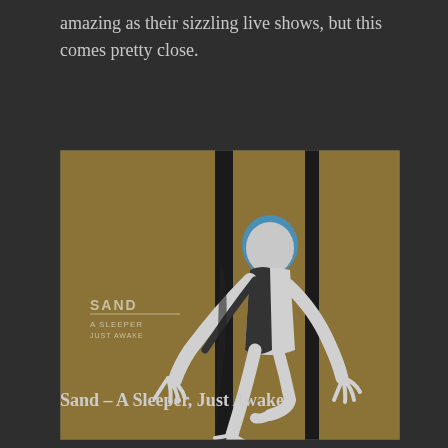amazing as their sizzling live shows, but this comes pretty close.
[Figure (illustration): Album cover for Sand – A Sleeper, Just Awake. A stylized figure with blue hair suspended by ropes or cords against a golden/tan background. The figure is rendered in a high-contrast graphic style with black shadows and white highlights. In the lower left of the cover, text reads 'SAND' in bold, followed by smaller text 'A SLEEPER' and 'JUST AWAKE'.]
Sand – A Sleeper, Just Awake